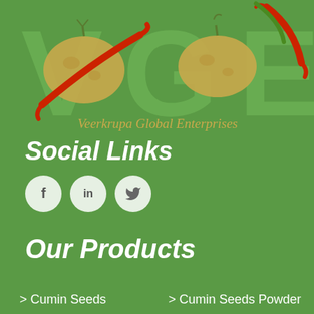[Figure (logo): Veerkrupa Global Enterprises logo with potatoes, chili peppers, and large green VGE letters]
Social Links
[Figure (infographic): Three circular social media icons: Facebook (f), LinkedIn (in), Twitter (bird)]
Our Products
Cumin Seeds
Cumin Seeds Powder
Organic Cumin Seed
Indian Cumin Seed
Fresh Cumin Seed
Jeera
Black Cumin Seed
Sitemap
White Cumin Seed
Our Presence